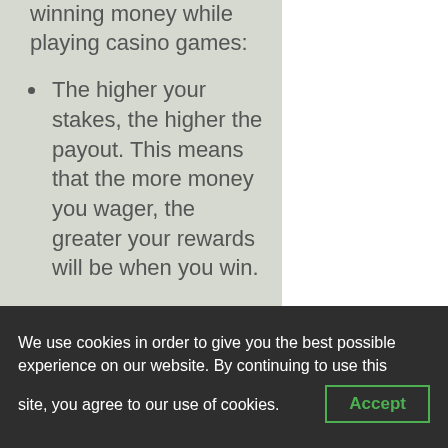winning money while playing casino games:
The higher your stakes, the higher the payout. This means that the more money you wager, the greater your rewards will be when you win.
Understand how to play a game before you begin. Each of our
We use cookies in order to give you the best possible experience on our website. By continuing to use this site, you agree to our use of cookies.
Accept